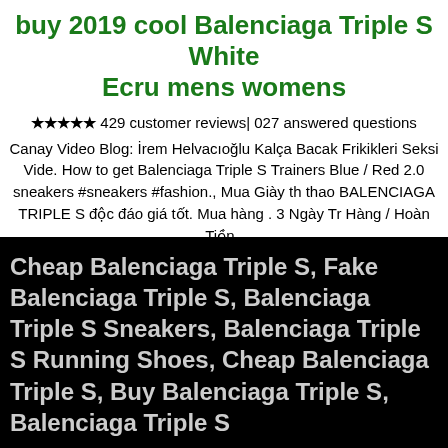buy 2019 cool Balenciaga Triple S White Ecru mens womens
★★★★★ 429 customer reviews| 027 answered questions
Canay Video Blog: İrem Helvacıoğlu Kalça Bacak Frikikleri Seksi Vide. How to get Balenciaga Triple S Trainers Blue / Red 2.0 sneakers #sneakers #fashion., Mua Giày th thao BALENCIAGA TRIPLE S độc đáo giá tốt. Mua hàng . 3 Ngày Tr Hàng / Hoàn Tiền . Lô hàng được đ buôn t quảng châu các bạn nhé !!.
balenciaga triple s nike vapormax off 61%
Cheap Balenciaga Triple S, Fake Balenciaga Triple S, Balenciaga Triple S Sneakers, Balenciaga Triple S Running Shoes, Cheap Balenciaga Triple S, Buy Balenciaga Triple S, Balenciaga Triple S